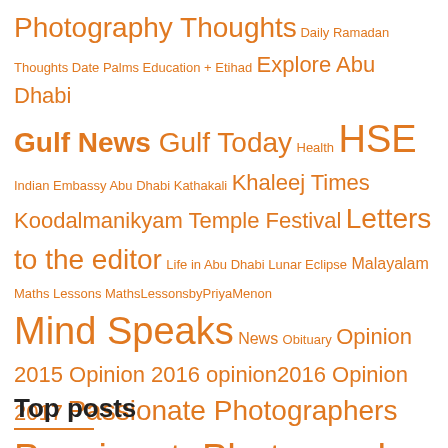[Figure (infographic): Tag cloud in orange text with varying font sizes. Tags include: Photography Thoughts, Daily Ramadan Thoughts, Date Palms, Education +, Etihad, Explore Abu Dhabi, Gulf News, Gulf Today, Health, HSE, Indian Embassy Abu Dhabi, Kathakali, Khaleej Times, Koodalmanikyam Temple Festival, Letters to the editor, Life in Abu Dhabi, Lunar Eclipse, Malayalam, Maths Lessons, MathsLessonsbyPriyaMenon, Mind Speaks, News, Obituary, Opinion 2015, Opinion 2016, opinion2016, Opinion 2017, Passionate Photographers, PassionatePhotographers, Photo Speaks, Positivity, Press Reviews, Ramadan, Road Safety, Safety First, Sai Bhajans, Sharjah Art Foundation, Short Stories, Short Take, Tabala, TalentShare, Talent Share, Taste It, ThampanRajesh, The National, TISS, TOTAL, TQM, UAE, UAE Events, WAM, Young, ADIPEC]
Top posts